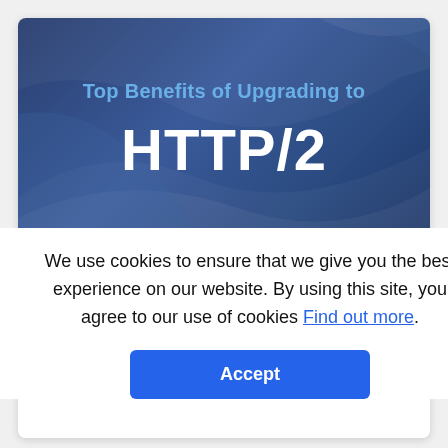[Figure (illustration): Dark blue banner with decorative swoosh shapes. Text reads 'Top Benefits of Upgrading to' in light blue and 'HTTP/2' in large white bold text. WebHosting logo in bottom right corner.]
...p grade to HTTP/2
Posted by someone | 15 Nov 18  HOSTING
What if I told you your website will load faster using fewe... ...d at the same
We use cookies to ensure that we give you the best experience on our website. By using this site, you agree to our use of cookies Find out more.
Accept